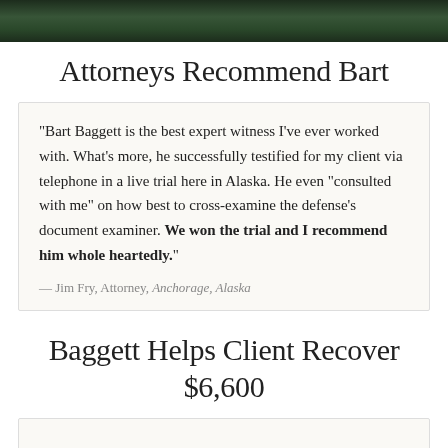[Figure (photo): Dark banner image showing trees or foliage in an outdoor setting]
Attorneys Recommend Bart
"Bart Baggett is the best expert witness I've ever worked with. What's more, he successfully testified for my client via telephone in a live trial here in Alaska. He even "consulted with me" on how best to cross-examine the defense's document examiner. We won the trial and I recommend him whole heartedly."
— Jim Fry, Attorney, Anchorage, Alaska
Baggett Helps Client Recover $6,600